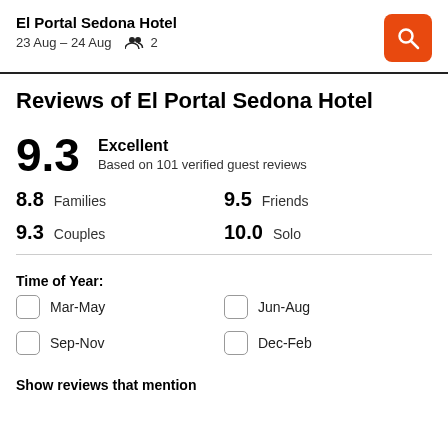El Portal Sedona Hotel
23 Aug – 24 Aug  2
Reviews of El Portal Sedona Hotel
9.3  Excellent
Based on 101 verified guest reviews
8.8  Families    9.5  Friends
9.3  Couples    10.0  Solo
Time of Year:
Mar-May
Jun-Aug
Sep-Nov
Dec-Feb
Show reviews that mention